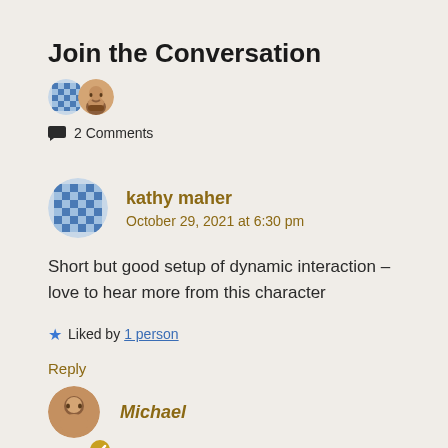Join the Conversation
2 Comments
kathy maher
October 29, 2021 at 6:30 pm
Short but good setup of dynamic interaction – love to hear more from this character
Liked by 1 person
Reply
Michael